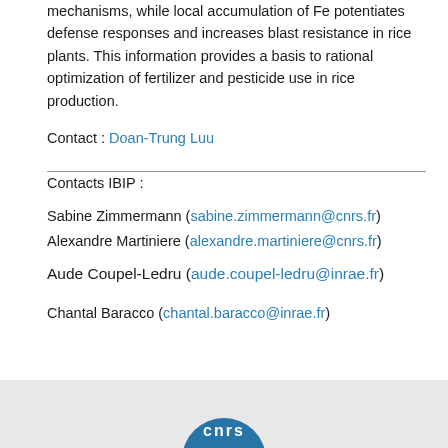mechanisms, while local accumulation of Fe potentiates defense responses and increases blast resistance in rice plants. This information provides a basis to rational optimization of fertilizer and pesticide use in rice production.
Contact : Doan-Trung Luu
Contacts IBIP :
Sabine Zimmermann (sabine.zimmermann@cnrs.fr)
Alexandre Martiniere (alexandre.martiniere@cnrs.fr)
Aude Coupel-Ledru (aude.coupel-ledru@inrae.fr)
Chantal Baracco (chantal.baracco@inrae.fr)
[Figure (logo): CNRS logo (partial), circular blue logo with white text 'cnrs']